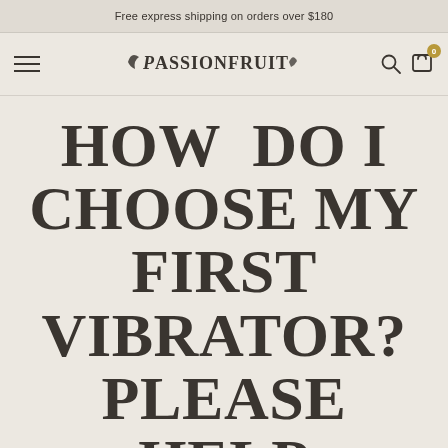Free express shipping on orders over $180
[Figure (logo): Passionfruit brand logo with stylized serif font and navigation icons including hamburger menu, search, and cart with badge showing 0]
HOW DO I CHOOSE MY FIRST VIBRATOR? PLEASE HELP